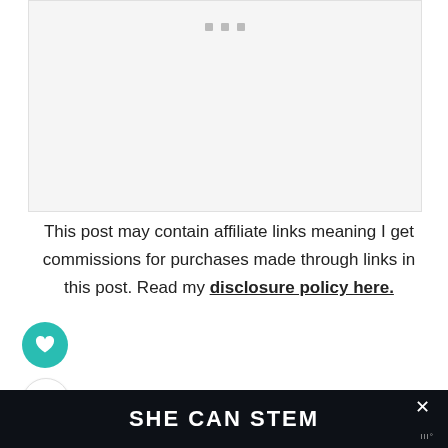[Figure (other): Placeholder image area with three small gray dots/squares at the top center, otherwise blank light gray background]
This post may contain affiliate links meaning I get commissions for purchases made through links in this post. Read my disclosure policy here.
[Figure (other): Yes! You can text in orange-red italic bold inside an orange-bordered box, with a decorative daily schedule preview image to the right]
SHE CAN STEM